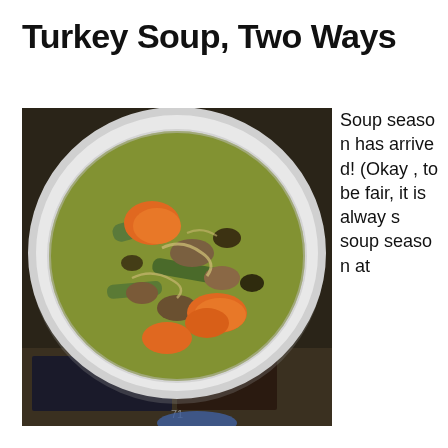Turkey Soup, Two Ways
[Figure (photo): Overhead view of a white bowl filled with turkey soup containing carrots, celery, and broth, placed on a dark surface.]
Soup season has arrived! (Okay, to be fair, it is always soup season at